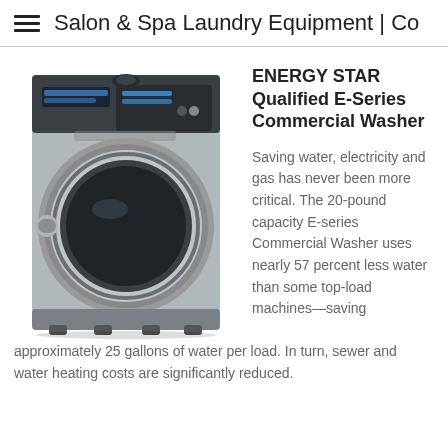Salon & Spa Laundry Equipment | Co
[Figure (photo): Commercial front-load washing machine (E-Series), stainless steel finish, with digital control panel and round door]
ENERGY STAR Qualified E-Series Commercial Washer
Saving water, electricity and gas has never been more critical. The 20-pound capacity E-series Commercial Washer uses nearly 57 percent less water than some top-load machines—saving approximately 25 gallons of water per load. In turn, sewer and water heating costs are significantly reduced.